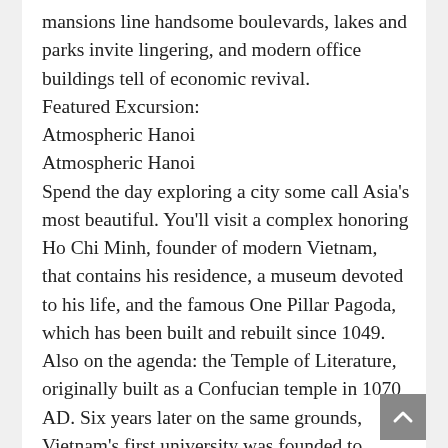mansions line handsome boulevards, lakes and parks invite lingering, and modern office buildings tell of economic revival.
Featured Excursion:
Atmospheric Hanoi
Atmospheric Hanoi
Spend the day exploring a city some call Asia's most beautiful. You'll visit a complex honoring Ho Chi Minh, founder of modern Vietnam, that contains his residence, a museum devoted to his life, and the famous One Pillar Pagoda, which has been built and rebuilt since 1049. Also on the agenda: the Temple of Literature, originally built as a Confucian temple in 1070 AD. Six years later on the same grounds, Vietnam's first university was founded to educate members of the nobility. Four hundred years later, the university opened its